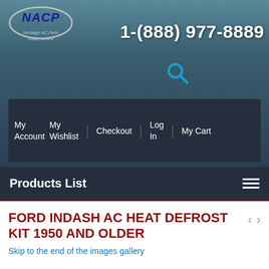[Figure (logo): NACP Nostalgic AC Parts logo - oval shaped with italic text in dark blue]
1-(888) 977-8889
[Figure (other): Search magnifying glass icon in teal/blue color]
My Account | My Wishlist | Checkout | Log In | My Cart
Products List
FORD INDASH AC HEAT DEFROST KIT 1950 AND OLDER
Skip to the end of the images gallery